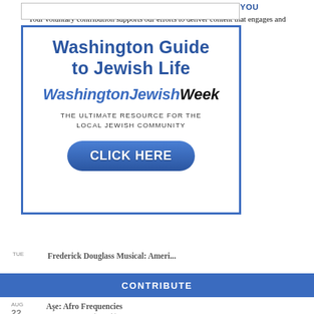[Figure (other): Empty white rectangle with border at top of page]
[Figure (infographic): Advertisement box for Washington Guide to Jewish Life / Washington Jewish Week with blue border, title, brand name, tagline, and click here button]
WASHINGTON JEWISH WEEK IS HERE FOR YOU
Your voluntary contribution supports our efforts to deliver content that engages and helps strengthen the Jewish community in the DMV.
TUE
Frederick Douglass Musical: Ameri...
CONTRIBUTE
AUG
22
Aşe: Afro Frequencies
ARTECHOUSE | Washington, DC
AUG
Junior Competition Team Auditions